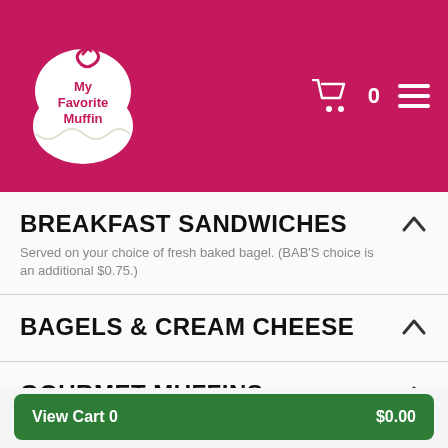[Figure (logo): My Favorite Muffin logo — white cupcake/muffin illustration with pink text 'My Favorite Muffin' on a pink/crimson background header]
BREAKFAST SANDWICHES
Served on your choice of fresh baked bagel. (BAB'S choice is an additional $0.75.)
BAGELS & CREAM CHEESE
GOURMET MUFFINS
SIGNATURE SALADS
View Cart 0  $0.00